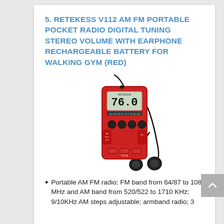5. RETEKESS V112 AM FM PORTABLE POCKET RADIO DIGITAL TUNING STEREO VOLUME WITH EARPHONE RECHARGEABLE BATTERY FOR WALKING GYM (RED)
[Figure (photo): Red Retekess V112 portable pocket AM/FM radio with digital display showing 76.0 and black earphones/earbuds connected via cable]
Portable AM FM radio; FM band from 64/87 to 108 MHz and AM band from 520/522 to 1710 KHz; 9/10KHz AM steps adjustable; armband radio; 3